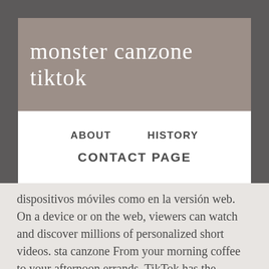monster canzone tiktok
ABOUT
HISTORY
CONTACT PAGE
dispositivos móviles como en la versión web. On a device or on the web, viewers can watch and discover millions of personalized short videos. sta canzone From your morning coffee to your afternoon errands, TikTok has the